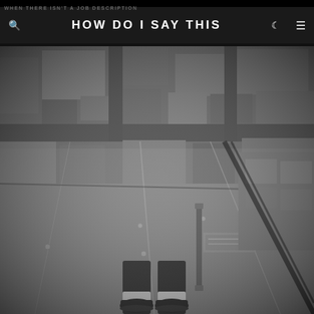WHEN THERE ISN'T A JOB DESCRIPTION
HOW DO I SAY THIS
[Figure (photo): Black and white aerial view photograph taken from a glass floor/ledge of a very tall building, looking straight down at city streets and buildings below. A person's feet in dark shoes and white socks are visible at the bottom of the frame, standing on the transparent glass surface. The city grid is visible far below.]